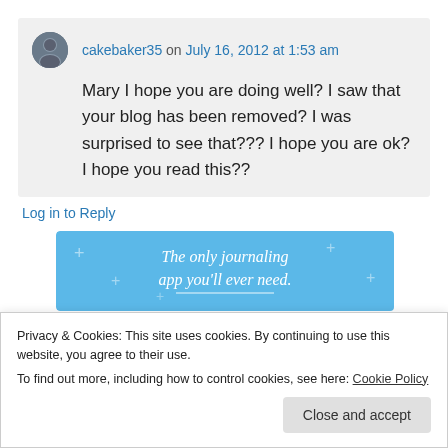cakebaker35 on July 16, 2012 at 1:53 am
Mary I hope you are doing well? I saw that your blog has been removed? I was surprised to see that??? I hope you are ok? I hope you read this??
Log in to Reply
[Figure (infographic): Blue banner advertisement with text: The only journaling app you'll ever need.]
Privacy & Cookies: This site uses cookies. By continuing to use this website, you agree to their use.
To find out more, including how to control cookies, see here: Cookie Policy